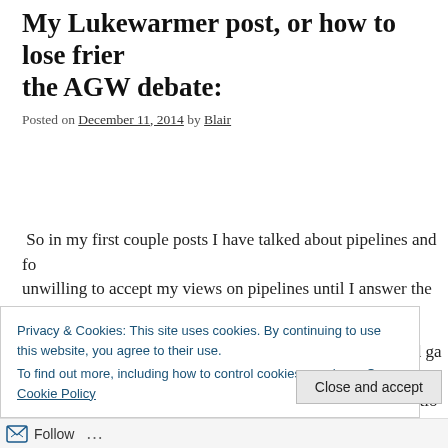My Lukewarmer post, or how to lose friends in the AGW debate:
Posted on December 11, 2014 by Blair
So in my first couple posts I have talked about pipelines and fo… unwilling to accept my views on pipelines until I answer the big… topic of anthropogenic global warming (AGW).
Way back in 1859 John Tyndall demonstrated that selected ga… dioxide and methane can intercept/absorb Infra-red (IR) rad… chemist Svante Arrhenius did the first experiments/calculatio… concentrations of carbon dioxide in the atmosphere should aff… the field of chemistry has refined the number and it is now ge…
Privacy & Cookies: This site uses cookies. By continuing to use this website, you agree to their use.
To find out more, including how to control cookies, see here: Our Cookie Policy
Close and accept
Follow